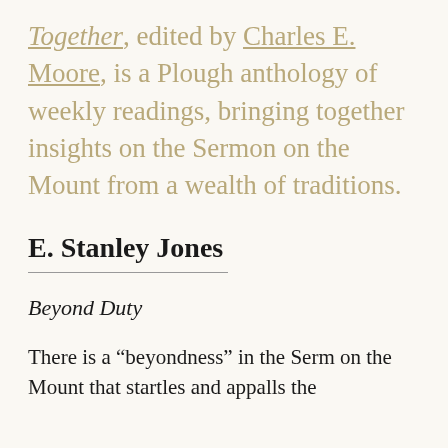Together, edited by Charles E. Moore, is a Plough anthology of weekly readings, bringing together insights on the Sermon on the Mount from a wealth of traditions.
E. Stanley Jones
Beyond Duty
There is a “beyondness” in the Serm on the Mount that startles and appalls the